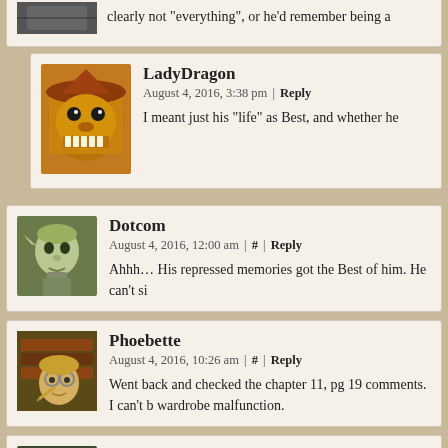clearly not 'everything', or he'd remember being a
LadyDragon
August 4, 2016, 3:38 pm | Reply
I meant just his "life" as Best, and whether he
Dotcom
August 4, 2016, 12:00 am | # | Reply
Ahhh... His repressed memories got the Best of him. He can't si
Phoebette
August 4, 2016, 10:26 am | # | Reply
Went back and checked the chapter 11, pg 19 comments. I can't b wardrobe malfunction.
Yoyoyo
August 4, 2016, 8:18 pm | # | Reply
Yyyyeeeaaayy, finally am all caught up! What a ride. Easy does i